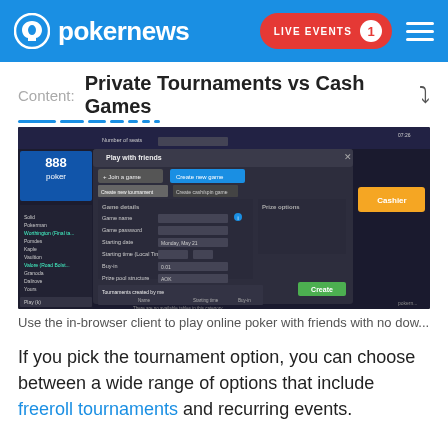pokernews | LIVE EVENTS 1
Content: Private Tournaments vs Cash Games
[Figure (screenshot): 888poker desktop client screenshot showing 'Play with Friends' dialog with 'Create new tournament' tab open, including fields for Game name, Game password, Starting date, Starting time, Buy-in, Number of seats, and Prize pool structure, with a green Create button and a 'Tournaments created by me' section at the bottom.]
Use the in-browser client to play online poker with friends with no dow...
If you pick the tournament option, you can choose between a wide range of options that include freeroll tournaments and recurring events.